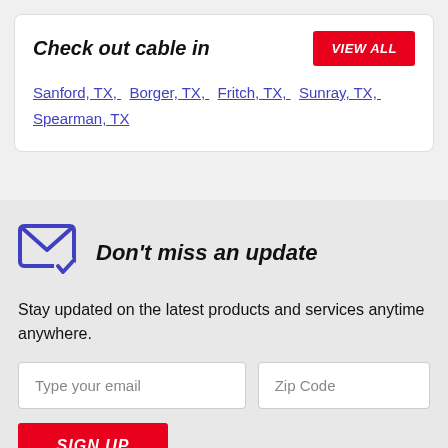Check out cable in
Sanford, TX,  Borger, TX,  Fritch, TX,  Sunray, TX,  Spearman, TX
Don't miss an update
Stay updated on the latest products and services anytime anywhere.
Type your email
Zip Code
SIGN UP